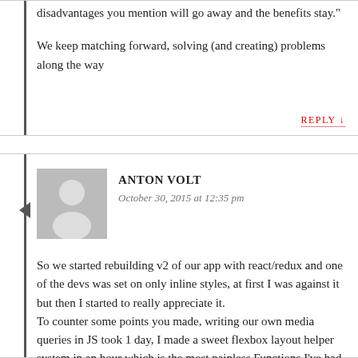disadvantages you mention will go away and the benefits stay."
We keep matching forward, solving (and creating) problems along the way
REPLY ↓
ANTON VOLT
October 30, 2015 at 12:35 pm
So we started rebuilding v2 of our app with react/redux and one of the devs was set on only inline styles, at first I was against it but then I started to really appreciate it.
To counter some points you made, writing our own media queries in JS took 1 day, I made a sweet flexbox layout helper system in an hour which is the most painless Functions I've had doing...